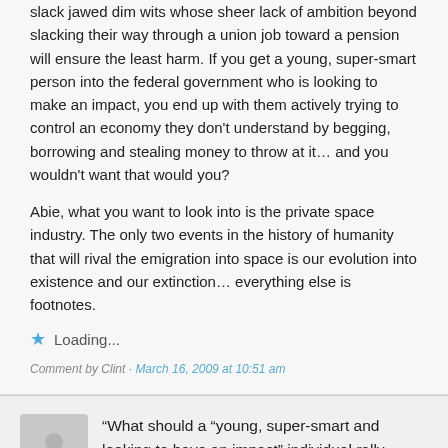slack jawed dim wits whose sheer lack of ambition beyond slacking their way through a union job toward a pension will ensure the least harm. If you get a young, super-smart person into the federal government who is looking to make an impact, you end up with them actively trying to control an economy they don't understand by begging, borrowing and stealing money to throw at it… and you wouldn't want that would you?
Abie, what you want to look into is the private space industry. The only two events in the history of humanity that will rival the emigration into space is our evolution into existence and our extinction… everything else is footnotes.
Loading...
Comment by Clint · March 16, 2009 at 10:51 am
“What should a “young, super-smart and looking to have an impact” individual rally around?”